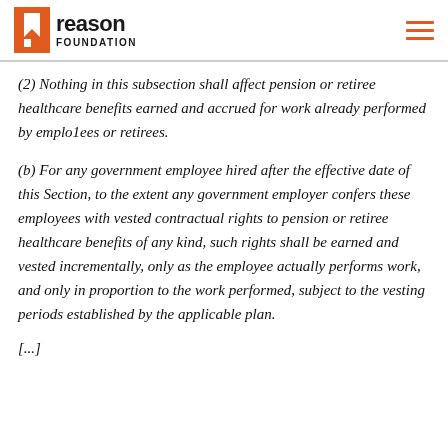Reason Foundation
(2) Nothing in this subsection shall affect pension or retiree healthcare benefits earned and accrued for work already performed by emplo1ees or retirees.
(b) For any government employee hired after the effective date of this Section, to the extent any government employer confers these employees with vested contractual rights to pension or retiree healthcare benefits of any kind, such rights shall be earned and vested incrementally, only as the employee actually performs work, and only in proportion to the work performed, subject to the vesting periods established by the applicable plan.
[...]